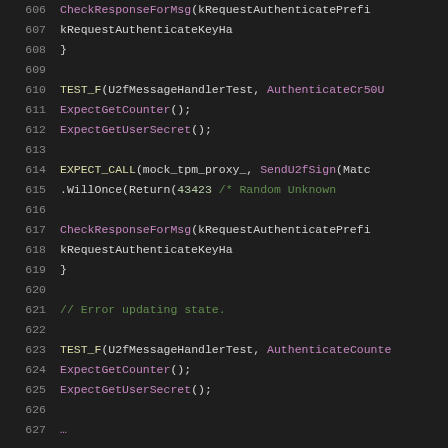[Figure (screenshot): Source code listing in a dark-themed code editor showing C++ unit test code, lines 606-627, with syntax highlighting. Functions and methods shown in purple, numbers in green, comments in green, keywords in blue.]